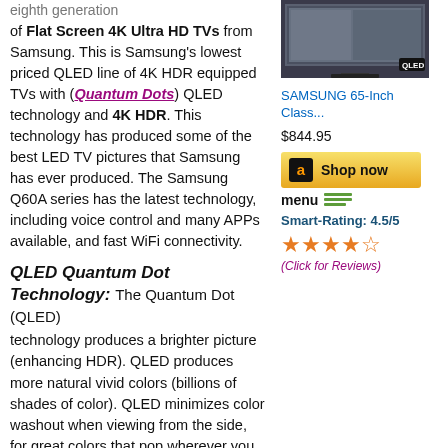eighth generation of Flat Screen 4K Ultra HD TVs from Samsung. This is Samsung's lowest priced QLED line of 4K HDR equipped TVs with (Quantum Dots) QLED technology and 4K HDR. This technology has produced some of the best LED TV pictures that Samsung has ever produced. The Samsung Q60A series has the latest technology, including voice control and many APPs available, and fast WiFi connectivity.
[Figure (photo): Samsung QLED TV product image showing a flat screen TV with QLED badge]
SAMSUNG 65-Inch Class...
$844.95
[Figure (other): Amazon Shop now button with Amazon logo]
menu
Smart-Rating: 4.5/5
[Figure (other): 4.5 out of 5 stars rating shown with orange star icons]
(Click for Reviews)
QLED Quantum Dot Technology:
The Quantum Dot (QLED) technology produces a brighter picture (enhancing HDR). QLED produces more natural vivid colors (billions of shades of color). QLED minimizes color washout when viewing from the side, for great colors that pop wherever you sit. High dynamic range (Quantum HDR) gives you more shadow detail, brighter whites, and more natural and realistic colors. A 4K Ultra HD TV provides 3840 x 2160 resolution, which is four times the resolution of Full HD. This allows you to sit closer to a larger TV and get the immersive movie theater experience. Most movie theaters now use a 4K projector, so in effect you will have movie theater resolution in the home.